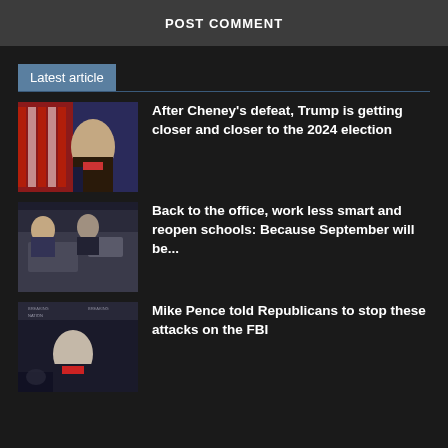POST COMMENT
Latest article
After Cheney’s defeat, Trump is getting closer and closer to the 2024 election
Back to the office, work less smart and reopen schools: Because September will be...
Mike Pence told Republicans to stop these attacks on the FBI